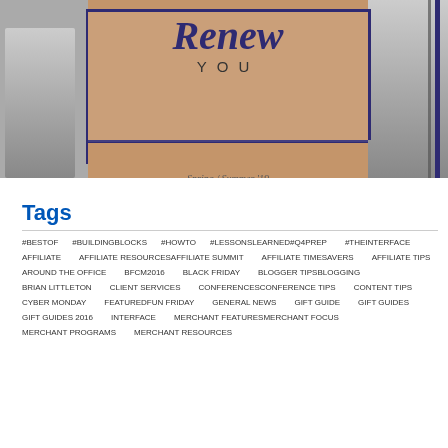[Figure (photo): Composite image showing athletic/yoga figures in grayscale on left and right, with a center panel showing a person in a yoga pose on a terracotta mat. Overlaid with a purple border box and the text 'Renew YOU' in stylized script/caps, with 'Spring / Summer '19' in italic script at the bottom.]
Tags
#BESTOF
#BUILDINGBLOCKS
#HOWTO
#LESSONSLEARNED
#Q4PREP
#THEINTERFACE
AFFILIATE
AFFILIATE RESOURCES
AFFILIATE SUMMIT
AFFILIATE TIMESAVERS
AFFILIATE TIPS
AROUND THE OFFICE
BFCM2016
BLACK FRIDAY
BLOGGER TIPS
BLOGGING
BRIAN LITTLETON
CLIENT SERVICES
CONFERENCES
CONFERENCE TIPS
CONTENT TIPS
CYBER MONDAY
FEATURED
FUN FRIDAY
GENERAL NEWS
GIFT GUIDE
GIFT GUIDES
GIFT GUIDES 2016
INTERFACE
MERCHANT FEATURES
MERCHANT FOCUS
MERCHANT PROGRAMS
MERCHANT RESOURCES